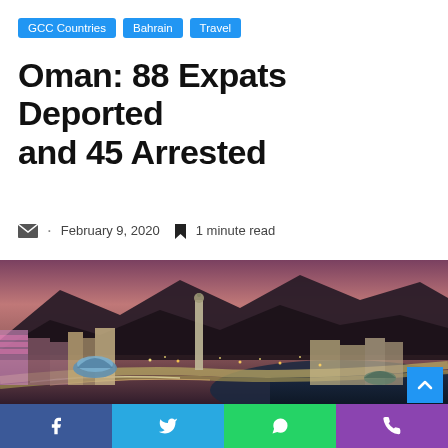GCC Countries
Bahrain
Travel
Oman: 88 Expats Deported and 45 Arrested
February 9, 2020   1 minute read
[Figure (photo): Aerial night view of Muscat, Oman showing illuminated coastal road with light trails, ornate mosque domes in foreground, minaret, mountains in background under purple sunset sky]